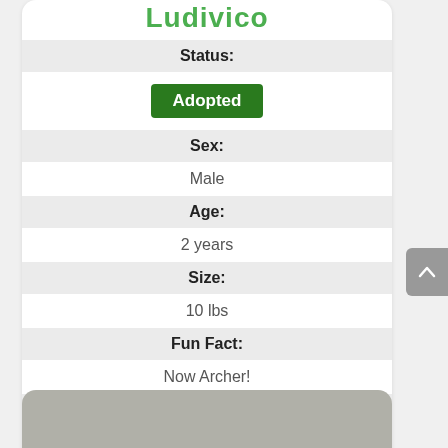Ludivico
| Field | Value |
| --- | --- |
| Status: | Adopted |
| Sex: | Male |
| Age: | 2 years |
| Size: | 10 lbs |
| Fun Fact: | Now Archer! |
| Foster Location: | TBD |
More Info